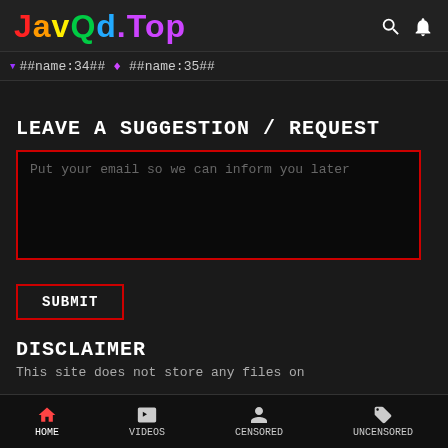JavQd.Top
##name:34## ♦ ##name:35##
LEAVE A SUGGESTION / REQUEST
Put your email so we can inform you later
SUBMIT
DISCLAIMER
This site does not store any files on
HOME   VIDEOS   CENSORED   UNCENSORED